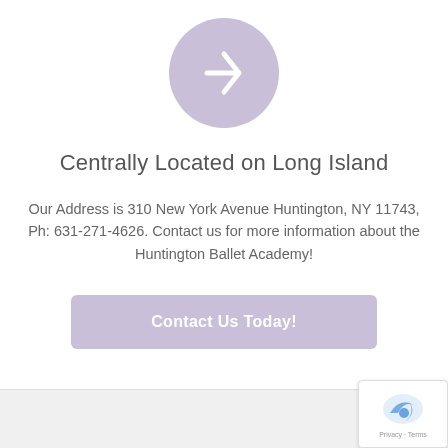[Figure (illustration): Light purple circle with a white right-pointing arrow in the center]
Centrally Located on Long Island
Our Address is 310 New York Avenue Huntington, NY 11743, Ph: 631-271-4626. Contact us for more information about the Huntington Ballet Academy!
Contact Us Today!
Privacy · Terms